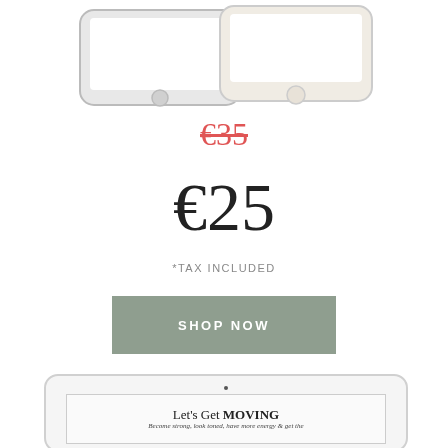[Figure (illustration): Two smartphones (one dark/black, one light/gold) shown partially cropped at top of page]
€35 (strikethrough, original price in red/pink)
€25
*TAX INCLUDED
SHOP NOW (button)
[Figure (screenshot): Tablet device showing a fitness/wellness publication with text 'Let's Get MOVING' and subtitle 'Become strong, look toned, have more energy & get the']